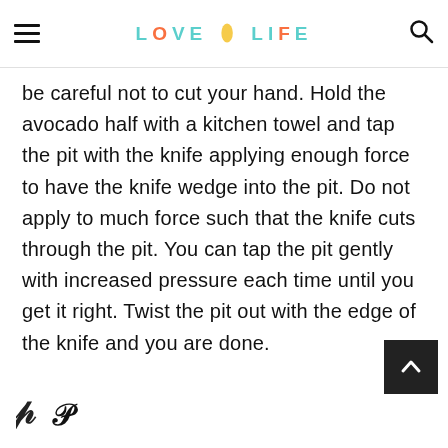LOVE LIFE (logo header with hamburger menu and search icon)
be careful not to cut your hand. Hold the avocado half with a kitchen towel and tap the pit with the knife applying enough force to have the knife wedge into the pit. Do not apply to much force such that the knife cuts through the pit. You can tap the pit gently with increased pressure each time until you get it right. Twist the pit out with the edge of the knife and you are done.
[Figure (illustration): Back to top arrow button (white chevron on dark background)]
[Figure (logo): Pinterest icon (P symbol)]